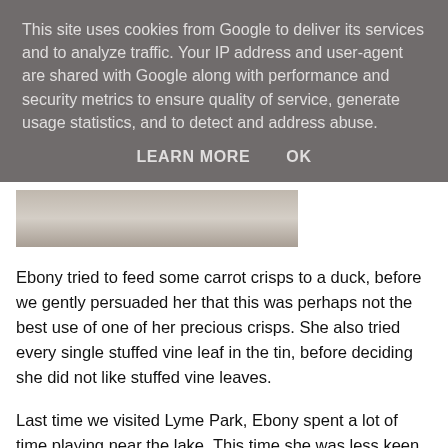This site uses cookies from Google to deliver its services and to analyze traffic. Your IP address and user-agent are shared with Google along with performance and security metrics to ensure quality of service, generate usage statistics, and to detect and address abuse.
LEARN MORE    OK
[Figure (photo): Partial photo visible at bottom of cookie overlay, showing a ground/pavement scene]
Ebony tried to feed some carrot crisps to a duck, before we gently persuaded her that this was perhaps not the best use of one of her precious crisps. She also tried every single stuffed vine leaf in the tin, before deciding she did not like stuffed vine leaves.
Last time we visited Lyme Park, Ebony spent a lot of time playing near the lake. This time she was less keen, possibly because there was a huge Mr Darcey sculpture peering out at her. Instead, she spent her time running around the lawn, and staring at older children. She is fascinated by other kids, especially older one, and will happily follow them around